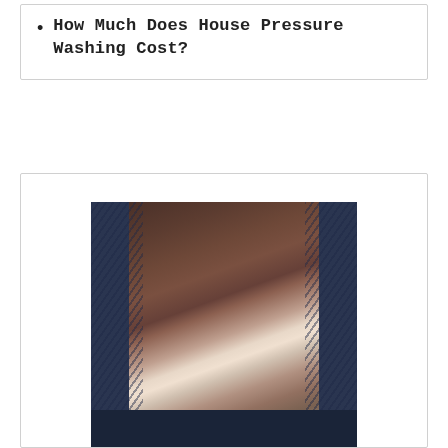How Much Does House Pressure Washing Cost?
[Figure (photo): A young bearded man in a white t-shirt working on a laptop in a cafe with brick walls and shelves in the background. Below the photo is a dark navy band with the beginning of text 'Become a']
Become a